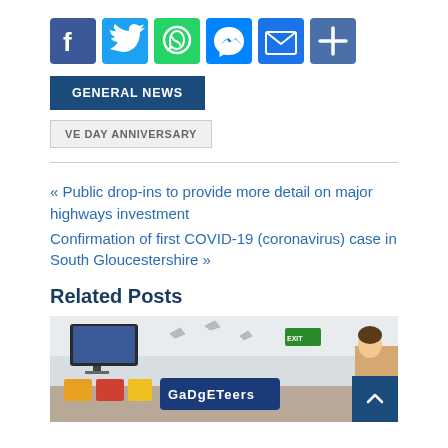[Figure (other): Social sharing icons row: Facebook (blue), Twitter (light blue), WhatsApp (green), Messenger (blue), Email (blue), Share/Plus (blue)]
GENERAL NEWS
VE DAY ANNIVERSARY
« Public drop-ins to provide more detail on major highways investment
Confirmation of first COVID-19 (coronavirus) case in South Gloucestershire »
Related Posts
[Figure (photo): Indoor room photo showing a TV screen on the wall, paper bird decorations, a green exit sign, a 'GADGETEERS' banner in colorful letters, and a person partially visible on the right.]